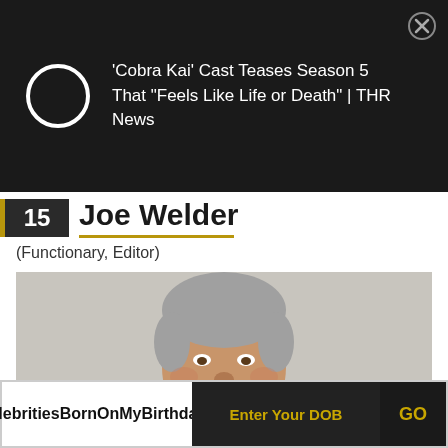[Figure (screenshot): Notification bar showing 'Cobra Kai' Cast Teases Season 5 That "Feels Like Life or Death" | THR News with a circular loading icon and close button]
15 Joe Welder
(Functionary, Editor)
[Figure (photo): Headshot of Joe Welder, an older man with gray hair and a mustache, smiling, wearing a blue shirt]
Celebrities Born On My Birthday?
Enter Your DOB
GO